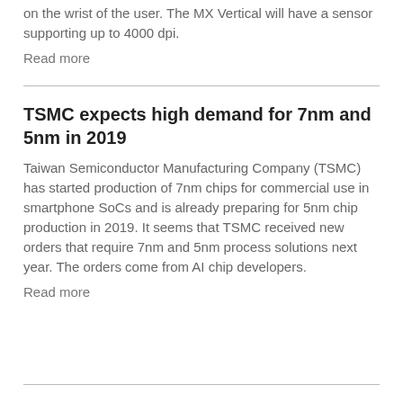on the wrist of the user. The MX Vertical will have a sensor supporting up to 4000 dpi.
Read more
TSMC expects high demand for 7nm and 5nm in 2019
Taiwan Semiconductor Manufacturing Company (TSMC) has started production of 7nm chips for commercial use in smartphone SoCs and is already preparing for 5nm chip production in 2019. It seems that TSMC received new orders that require 7nm and 5nm process solutions next year. The orders come from AI chip developers.
Read more